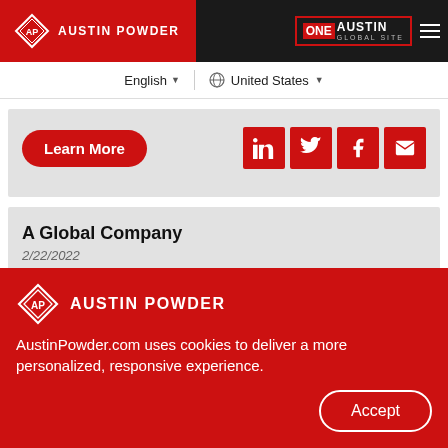AUSTIN POWDER — ONE AUSTIN GLOBAL SITE
English ▾   United States ▾
[Figure (screenshot): Learn More button and social share icons (LinkedIn, Twitter, Facebook, Email) on grey card]
A Global Company
2/22/2022
AUSTIN POWDER
AustinPowder.com uses cookies to deliver a more personalized, responsive experience.
Accept